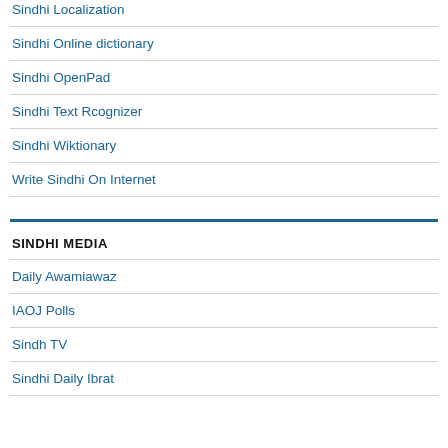Sindhi Localization
Sindhi Online dictionary
Sindhi OpenPad
Sindhi Text Rcognizer
Sindhi Wiktionary
Write Sindhi On Internet
SINDHI MEDIA
Daily Awamiawaz
IAOJ Polls
Sindh TV
Sindhi Daily Ibrat